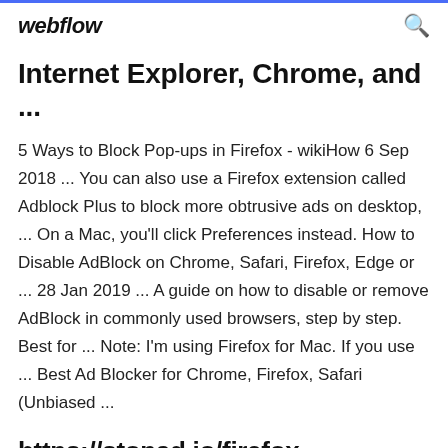webflow
Internet Explorer, Chrome, and ...
5 Ways to Block Pop-ups in Firefox - wikiHow 6 Sep 2018 ... You can also use a Firefox extension called Adblock Plus to block more obtrusive ads on desktop, ... On a Mac, you'll click Preferences instead. How to Disable AdBlock on Chrome, Safari, Firefox, Edge or ... 28 Jan 2019 ... A guide on how to disable or remove AdBlock in commonly used browsers, step by step. Best for ... Note: I'm using Firefox for Mac. If you use ... Best Ad Blocker for Chrome, Firefox, Safari (Unbiased ...
https://stopad.io/firefox